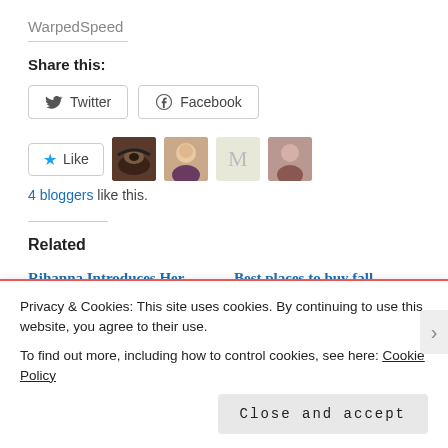WarpedSpeed
Share this:
Twitter  Facebook
★ Like  [blogger avatars]  4 bloggers like this.
Related
Rihanna Introduces Her New Inclusive Makeup Line
22 Sep 2017
Best places to buy fall clothing
20 Oct 2017
Privacy & Cookies: This site uses cookies. By continuing to use this website, you agree to their use.
To find out more, including how to control cookies, see here: Cookie Policy
Close and accept